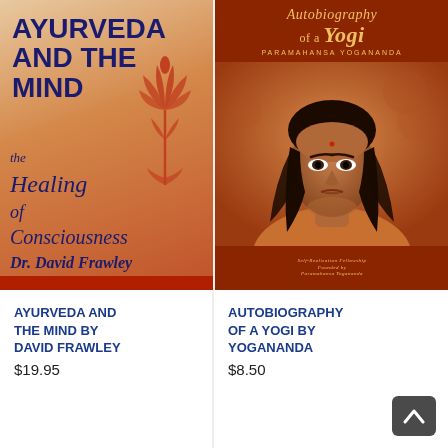[Figure (illustration): Book cover: Ayurveda and the Mind – the Healing of Consciousness by Dr. David Frawley. Orange/tan gradient background with dark blue bold title text, italic subtitle in dark blue cursive, decorative red lotus illustration, and author name at bottom.]
[Figure (photo): Book cover: Autobiography of a Yogi by Paramahansa Yogananda. Dark red/orange cover with gold title text at top, photographic portrait of Yogananda in the center, and Self-Realization Fellowship logo at bottom.]
Ayurveda And The Mind by David Frawley
$19.95
Autobiography of a Yogi by Yogananda
$8.50